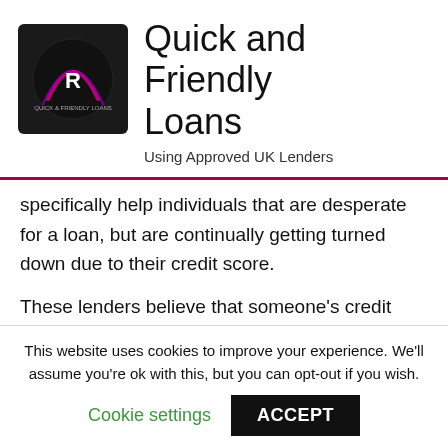[Figure (logo): Quick and Friendly Loans logo — dark circular badge with stylized R and pink/purple arc on black background]
Quick and Friendly Loans
Using Approved UK Lenders
specifically help individuals that are desperate for a loan, but are continually getting turned down due to their credit score.
These lenders believe that someone's credit score is only one part of a person and they should be viewed as an individual. They believe that no matter what
This website uses cookies to improve your experience. We'll assume you're ok with this, but you can opt-out if you wish.
Cookie settings   ACCEPT